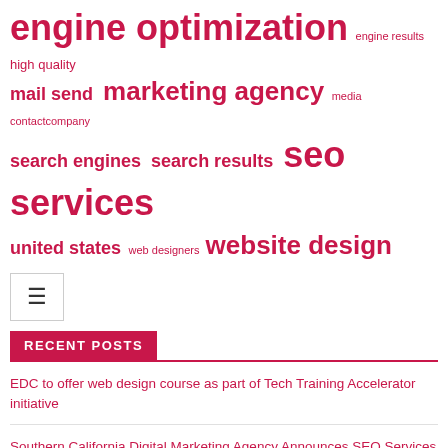[Figure (infographic): Tag cloud with SEO/web design related terms in various sizes in crimson/red color. Terms include: engine optimization (very large), engine results (small), high quality (small), mail send (medium), marketing agency (large), media contact company (small), search engines (large), search results (large), seo services (very large), united states (medium), web designers (small), website design (extra large)]
[Figure (other): Hamburger menu button icon (three horizontal lines) inside a bordered square box]
RECENT POSTS
EDC to offer web design course as part of Tech Training Accelerator initiative
Southern California Digital Marketing Agency Announces SEO Services to Clients
11 Web Design Podcasts for Online Merchants
This is what Deventer can do for you when it comes to web design
Patient NEWS offers dental referral services in the USA